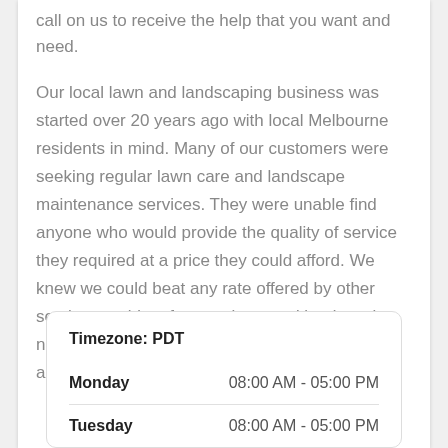call on us to receive the help that you want and need.
Our local lawn and landscaping business was started over 20 years ago with local Melbourne residents in mind. Many of our customers were seeking regular lawn care and landscape maintenance services. They were unable find anyone who would provide the quality of service they required at a price they could afford. We knew we could beat any rate offered by other service providers for your lawn and landscaping needs. We offer the most affordable lawn care and landscaping services in Melbourne, FL
|  |  |
| --- | --- |
| Timezone: PDT |  |
| Monday | 08:00 AM - 05:00 PM |
| Tuesday | 08:00 AM - 05:00 PM |